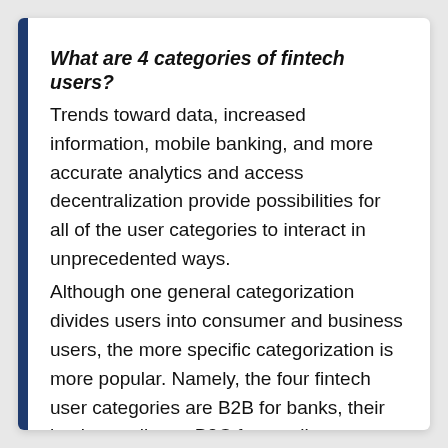What are 4 categories of fintech users?
Trends toward data, increased information, mobile banking, and more accurate analytics and access decentralization provide possibilities for all of the user categories to interact in unprecedented ways.
Although one general categorization divides users into consumer and business users, the more specific categorization is more popular. Namely, the four fintech user categories are B2B for banks, their business clients, B2C for small businesses, and consumers.